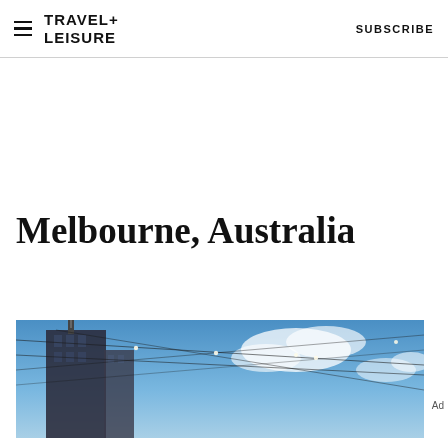TRAVEL+ LEISURE   SUBSCRIBE
Melbourne, Australia
[Figure (photo): Melbourne cityscape photo showing a tall building against a blue sky with clouds, string lights visible overhead]
Ad